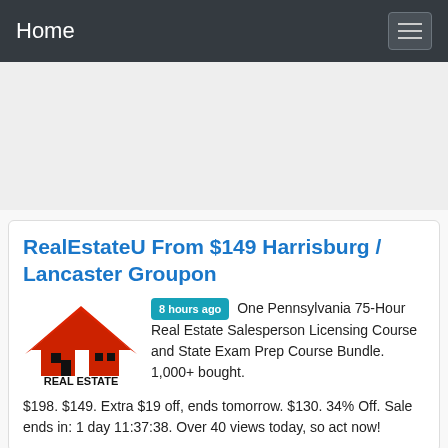Home
[Figure (logo): Real Estate logo with red house icon and text REAL ESTATE]
RealEstateU From $149 Harrisburg / Lancaster Groupon
8 hours ago  One Pennsylvania 75-Hour Real Estate Salesperson Licensing Course and State Exam Prep Course Bundle. 1,000+ bought. $198. $149. Extra $19 off, ends tomorrow. $130. 34% Off. Sale ends in: 1 day 11:37:38. Over 40 views today, so act now!